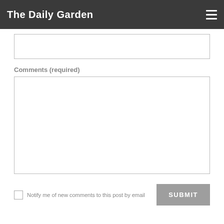The Daily Garden
[Figure (screenshot): Empty text input field with border]
Comments (required)
[Figure (screenshot): Empty large textarea input field with border for comments]
Notify me of new comments to this post by email
SUBMIT